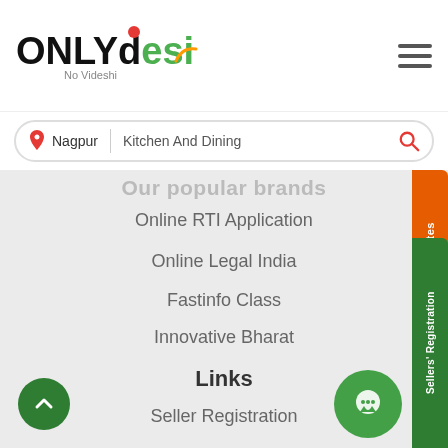[Figure (logo): ONLYdesi logo with tagline 'No Videshi']
[Figure (screenshot): Search bar with location 'Nagpur' and search text 'Kitchen And Dining']
Our popular brands
Online RTI Application
Online Legal India
Fastinfo Class
Innovative Bharat
Links
Seller Registration
Follow Us
Copyright 2019 - 2022 OnlyDesi.